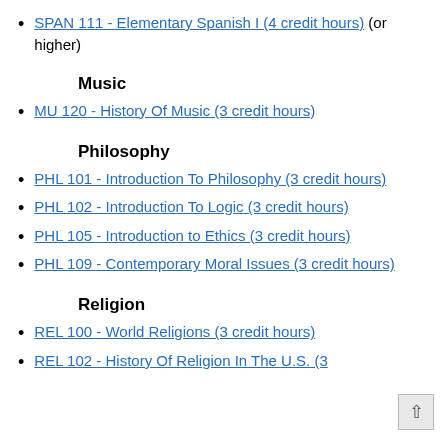SPAN 111 - Elementary Spanish I (4 credit hours) (or higher)
Music
MU 120 - History Of Music (3 credit hours)
Philosophy
PHL 101 - Introduction To Philosophy (3 credit hours)
PHL 102 - Introduction To Logic (3 credit hours)
PHL 105 - Introduction to Ethics (3 credit hours)
PHL 109 - Contemporary Moral Issues (3 credit hours)
Religion
REL 100 - World Religions (3 credit hours)
REL 102 - History Of Religion In The U.S. (3 credit hours)